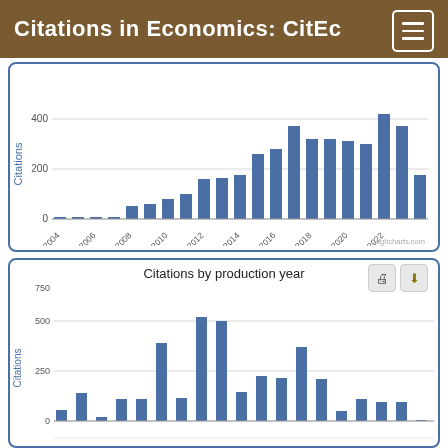Citations in Economics: CitEc
[Figure (bar-chart): ]
[Figure (bar-chart): Citations by production year]